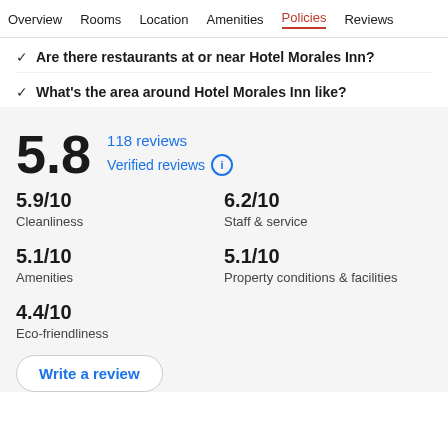Overview  Rooms  Location  Amenities  Policies  Reviews
Are there restaurants at or near Hotel Morales Inn?
What's the area around Hotel Morales Inn like?
5.8
118 reviews
Verified reviews
5.9/10
Cleanliness
6.2/10
Staff & service
5.1/10
Amenities
5.1/10
Property conditions & facilities
4.4/10
Eco-friendliness
Write a review